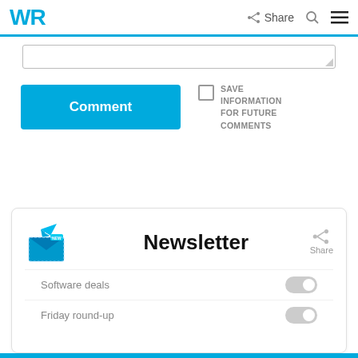WR | Share
[Figure (screenshot): Textarea input field with resize handle]
[Figure (screenshot): Blue Comment button]
SAVE INFORMATION FOR FUTURE COMMENTS
Newsletter
Software deals
Friday round-up